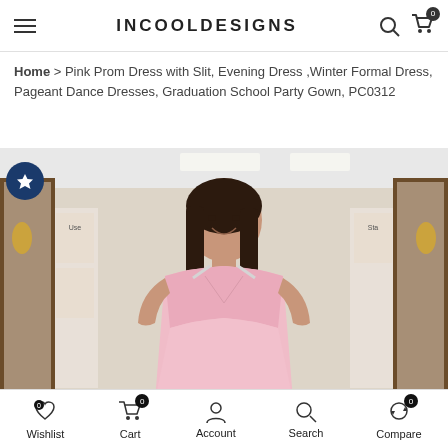INCOOLDESIGNS
Home > Pink Prom Dress with Slit, Evening Dress ,Winter Formal Dress, Pageant Dance Dresses, Graduation School Party Gown, PC0312
[Figure (photo): Young woman wearing a light pink satin prom dress with thin bejeweled straps in a dress shop with ornate gold mirrors]
Wishlist 0  Cart 0  Account  Search  Compare 0